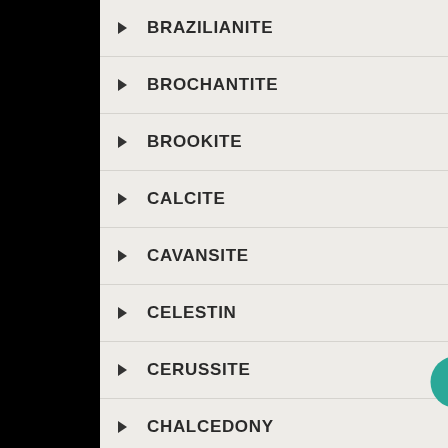BRAZILIANITE
BROCHANTITE
BROOKITE
CALCITE
CAVANSITE
CELESTIN
CERUSSITE
CHALCEDONY
CHALCO PYRITE
CHIYOKOITE
CHLORITE
CHRYSOBERYL
CHRYSO
CINNABAR